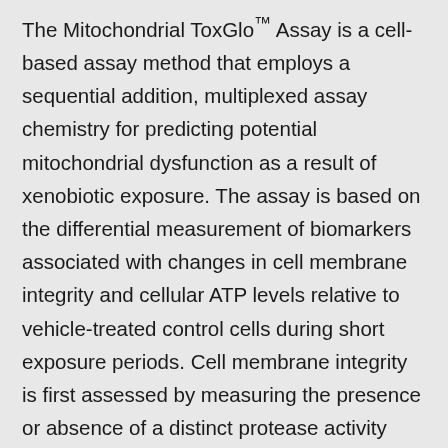The Mitochondrial ToxGlo™ Assay is a cell-based assay method that employs a sequential addition, multiplexed assay chemistry for predicting potential mitochondrial dysfunction as a result of xenobiotic exposure. The assay is based on the differential measurement of biomarkers associated with changes in cell membrane integrity and cellular ATP levels relative to vehicle-treated control cells during short exposure periods. Cell membrane integrity is first assessed by measuring the presence or absence of a distinct protease activity associated with necrosis using a fluorogenic peptide substrate (bis-AAF-R110) to measure "dead cell protease activity". The bis-AAF-R110 substrate cannot cross the intact membrane of live cells and therefore gives